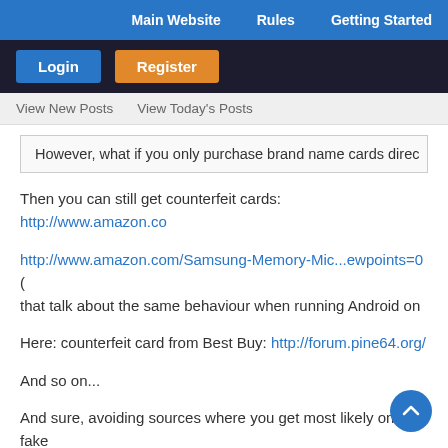Main Website   Rules   Getting Started
Login   Register
View New Posts   View Today's Posts
However, what if you only purchase brand name cards direc
Then you can still get counterfeit cards: http://www.amazon.co
http://www.amazon.com/Samsung-Memory-Mic...ewpoints=0 (that talk about the same behaviour when running Android on
Here: counterfeit card from Best Buy: http://forum.pine64.org/
And so on...
And sure, avoiding sources where you get most likely only fake and get a refund immediately instead of wasting your time wit to software or 'the Pine64 itself' later since you almost forgot t